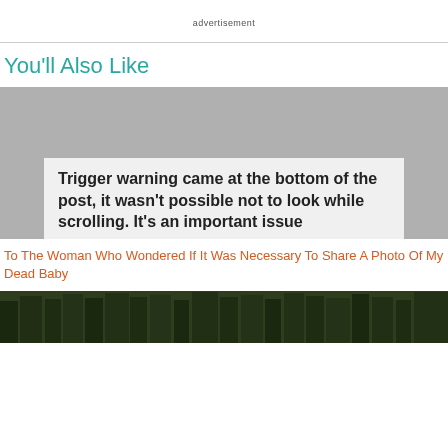advertisement
You'll Also Like
[Figure (screenshot): Article preview image with overlay text box reading: 'Trigger warning came at the bottom of the post, it wasn't possible not to look while scrolling. It's an important issue']
To The Woman Who Wondered If It Was Necessary To Share A Photo Of My Dead Baby
[Figure (photo): Bottom portion of a photo showing trees/forest with dark green foliage]